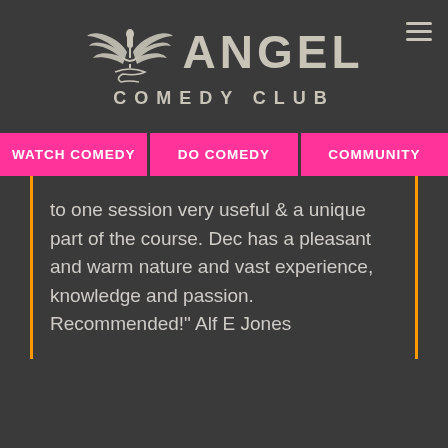[Figure (logo): Angel Comedy Club logo with winged microphone icon on the left and 'ANGEL' in large letters with 'COMEDY CLUB' below]
WATCH COMEDY | DO COMEDY | COMMUNITY
to one session very useful & a unique part of the course. Dec has a pleasant and warm nature and vast experience, knowledge and passion. Recommended!" Alf E Jones